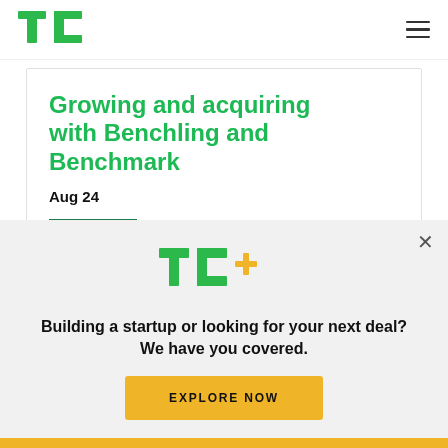TechCrunch navigation bar with TC logo and hamburger menu
Growing and acquiring with Benchling and Benchmark
Aug 24
[Figure (logo): TC+ logo in green with gold plus sign]
Building a startup or looking for your next deal? We have you covered.
EXPLORE NOW